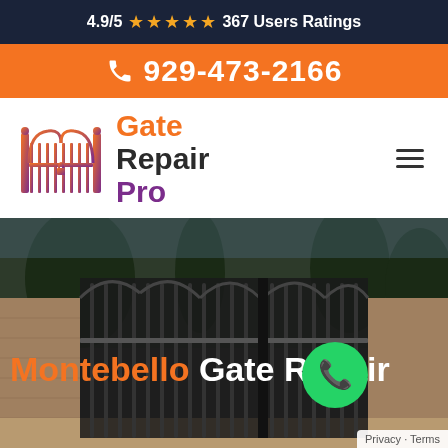4.9/5 ★★★★★ 367 Users Ratings
929-473-2166
[Figure (logo): Gate Repair Pro logo with orange and purple gate icon and text]
[Figure (photo): Dark iron double gate with stone pillars and trees in background, with text overlay: Montebello Gate Repair, and green phone call button]
Privacy · Terms